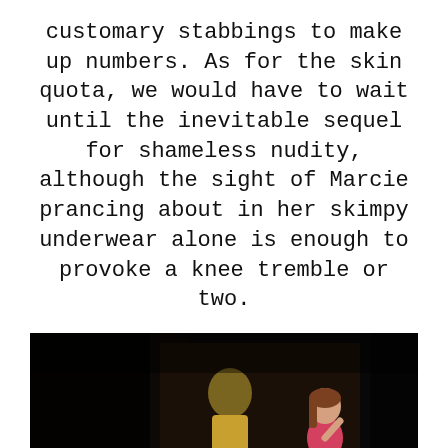customary stabbings to make up numbers. As for the skin quota, we would have to wait until the inevitable sequel for shameless nudity, although the sight of Marcie prancing about in her skimpy underwear alone is enough to provoke a knee tremble or two.
[Figure (photo): A dark scene showing a young woman in a pink top and white shorts standing near a bathroom sink, with a figure visible in the background.]